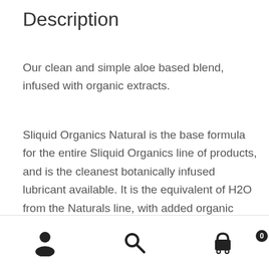Description
Our clean and simple aloe based blend, infused with organic extracts.
Sliquid Organics Natural is the base formula for the entire Sliquid Organics line of products, and is the cleanest botanically infused lubricant available. It is the equivalent of H2O from the Naturals line, with added organic extracts. Like all Sliquid products, Sliquid Organics Natural is entirely glycerin and paraben free, and contains no sugar
ⓘ All products at least 10% off RRP and discount shipping on all orders
Dismiss
[Figure (other): Bottom navigation bar with person icon, search icon, and cart icon with badge showing 0]